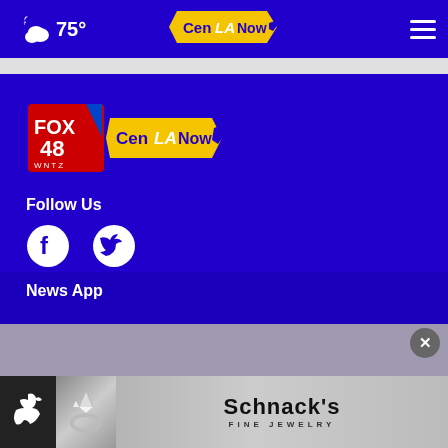75° CenLA Now
[Figure (logo): FOX 48 WNTZ and CenLA Now combined station logo on blue background]
Follow Us
[Figure (logo): Facebook and Twitter social media icons]
News App
[Figure (other): Apple App Store badge icon]
[Figure (photo): Schnack's Fine Jewelry advertisement banner with diamond ring image]